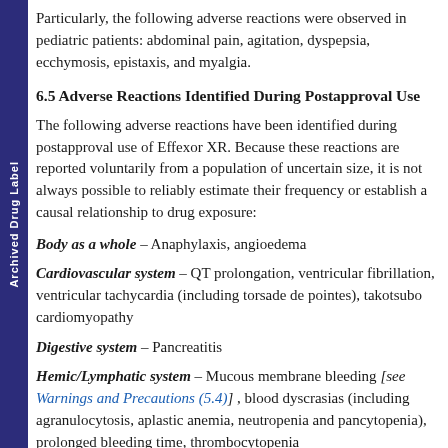Archived Drug Label
Particularly, the following adverse reactions were observed in pediatric patients: abdominal pain, agitation, dyspepsia, ecchymosis, epistaxis, and myalgia.
6.5 Adverse Reactions Identified During Postapproval Use
The following adverse reactions have been identified during postapproval use of Effexor XR. Because these reactions are reported voluntarily from a population of uncertain size, it is not always possible to reliably estimate their frequency or establish a causal relationship to drug exposure:
Body as a whole – Anaphylaxis, angioedema
Cardiovascular system – QT prolongation, ventricular fibrillation, ventricular tachycardia (including torsade de pointes), takotsubo cardiomyopathy
Digestive system – Pancreatitis
Hemic/Lymphatic system – Mucous membrane bleeding [see Warnings and Precautions (5.4)] , blood dyscrasias (including agranulocytosis, aplastic anemia, neutropenia and pancytopenia), prolonged bleeding time, thrombocytopenia
Metabolic/Nutritional – Hyponatremia [see Warnings and Precautions (5.9)] . Syndrome of Inappropriate Antidiuretic